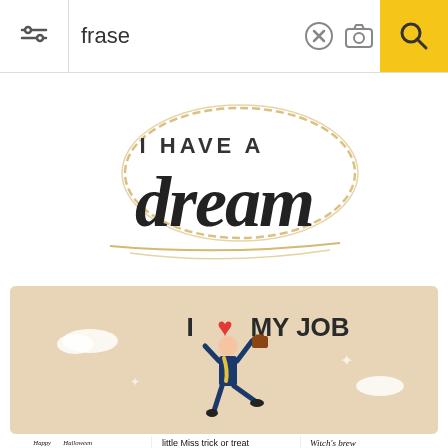[Figure (screenshot): Search bar with filter icon, text input showing 'frase', clear button, camera button, and yellow search button]
[Figure (illustration): Motivational calligraphy illustration: 'I HAVE A dream' in black script with gold oval brushstroke decoration]
[Figure (illustration): Beige background illustration: 'I love MY JOB' with a jumping businessman holding a briefcase]
[Figure (illustration): Grid of Halloween themed phrase illustrations including 'Happy Halloween', 'Trick or Treat', 'Little Miss Trick or Treat', 'Witch's Brew', 'Happy Halloween' gnomes, 'Witchy Vibes', 'Home']